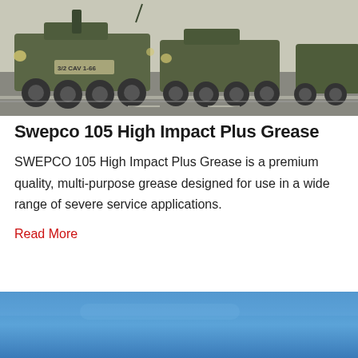[Figure (photo): Military armored vehicles (Stryker-type wheeled APCs) driving in convoy on a road, painted olive green/camouflage, with markings '3/2 CAV' and '1-66'.]
Swepco 105 High Impact Plus Grease
SWEPCO 105 High Impact Plus Grease is a premium quality, multi-purpose grease designed for use in a wide range of severe service applications.
Read More
[Figure (photo): Bottom portion of a blue sky / gradient background image, partially visible at the bottom of the page.]